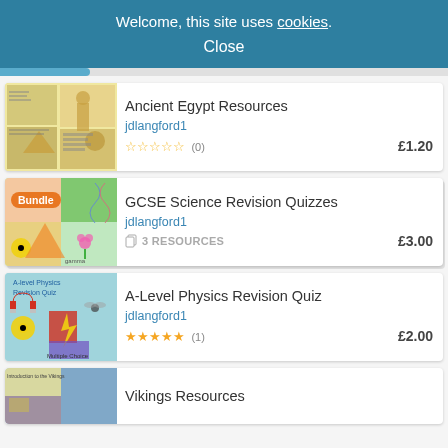Welcome, this site uses cookies.
Close
Ancient Egypt Resources
jdlangford1
☆☆☆☆☆ (0)
£1.20
GCSE Science Revision Quizzes
jdlangford1
3 RESOURCES
£3.00
A-Level Physics Revision Quiz
jdlangford1
★★★★★ (1)
£2.00
Vikings Resources